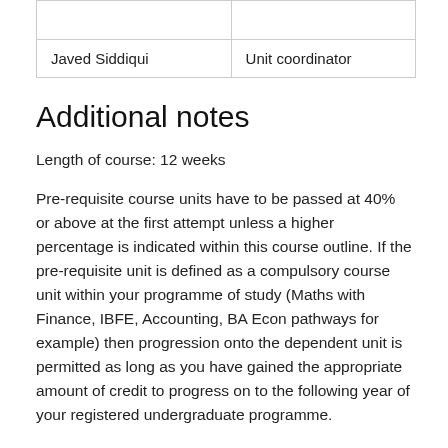|  |  |
| Javed Siddiqui | Unit coordinator |
Additional notes
Length of course: 12 weeks
Pre-requisite course units have to be passed at 40% or above at the first attempt unless a higher percentage is indicated within this course outline. If the pre-requisite unit is defined as a compulsory course unit within your programme of study (Maths with Finance, IBFE, Accounting, BA Econ pathways for example) then progression onto the dependent unit is permitted as long as you have gained the appropriate amount of credit to progress on to the following year of your registered undergraduate programme.